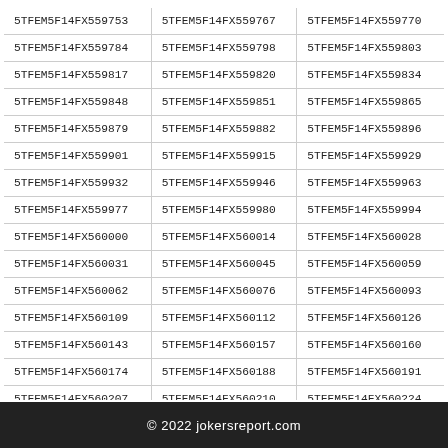| 5TFEM5F14FX559753 | 5TFEM5F14FX559767 | 5TFEM5F14FX559770 |
| 5TFEM5F14FX559784 | 5TFEM5F14FX559798 | 5TFEM5F14FX559803 |
| 5TFEM5F14FX559817 | 5TFEM5F14FX559820 | 5TFEM5F14FX559834 |
| 5TFEM5F14FX559848 | 5TFEM5F14FX559851 | 5TFEM5F14FX559865 |
| 5TFEM5F14FX559879 | 5TFEM5F14FX559882 | 5TFEM5F14FX559896 |
| 5TFEM5F14FX559901 | 5TFEM5F14FX559915 | 5TFEM5F14FX559929 |
| 5TFEM5F14FX559932 | 5TFEM5F14FX559946 | 5TFEM5F14FX559963 |
| 5TFEM5F14FX559977 | 5TFEM5F14FX559980 | 5TFEM5F14FX559994 |
| 5TFEM5F14FX560000 | 5TFEM5F14FX560014 | 5TFEM5F14FX560028 |
| 5TFEM5F14FX560031 | 5TFEM5F14FX560045 | 5TFEM5F14FX560059 |
| 5TFEM5F14FX560062 | 5TFEM5F14FX560076 | 5TFEM5F14FX560093 |
| 5TFEM5F14FX560109 | 5TFEM5F14FX560112 | 5TFEM5F14FX560126 |
| 5TFEM5F14FX560143 | 5TFEM5F14FX560157 | 5TFEM5F14FX560160 |
| 5TFEM5F14FX560174 | 5TFEM5F14FX560188 | 5TFEM5F14FX560191 |
| 5TFEM5F14FX560207 | 5TFEM5F14FX560210 | 5TFEM5F14FX560224 |
| 5TFEM5F14FX560238 | 5TFEM5F14FX560241 | 5TFEM5F14FX560255 |
© 2022 jokersreport.com